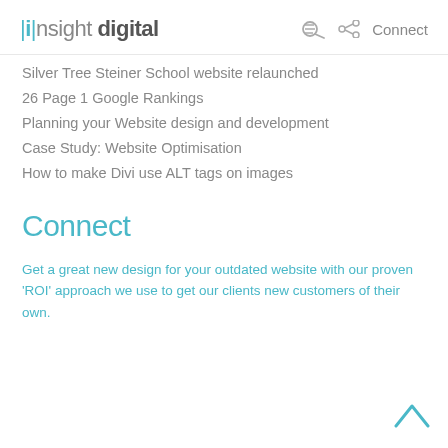|i|nsight digital  Connect
Silver Tree Steiner School website relaunched
26 Page 1 Google Rankings
Planning your Website design and development
Case Study: Website Optimisation
How to make Divi use ALT tags on images
Connect
Get a great new design for your outdated website with our proven 'ROI' approach we use to get our clients new customers of their own.